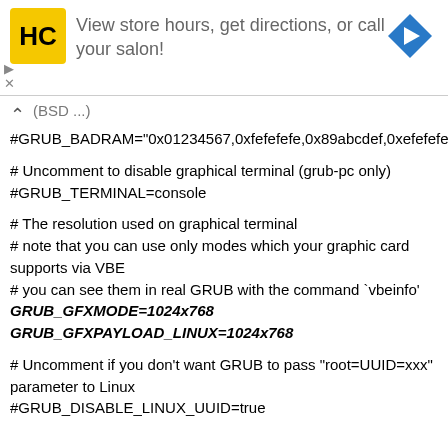[Figure (screenshot): Advertisement banner for HC salon: yellow HC logo icon, text 'View store hours, get directions, or call your salon!', blue navigation arrow icon on right. Small play and X controls on left.]
BSD ...)
#GRUB_BADRAM="0x01234567,0xfefefefe,0x89abcdef,0xefefef"
# Uncomment to disable graphical terminal (grub-pc only)
#GRUB_TERMINAL=console
# The resolution used on graphical terminal
# note that you can use only modes which your graphic card supports via VBE
# you can see them in real GRUB with the command `vbeinfo'
GRUB_GFXMODE=1024x768
GRUB_GFXPAYLOAD_LINUX=1024x768
# Uncomment if you don't want GRUB to pass "root=UUID=xxx" parameter to Linux
#GRUB_DISABLE_LINUX_UUID=true